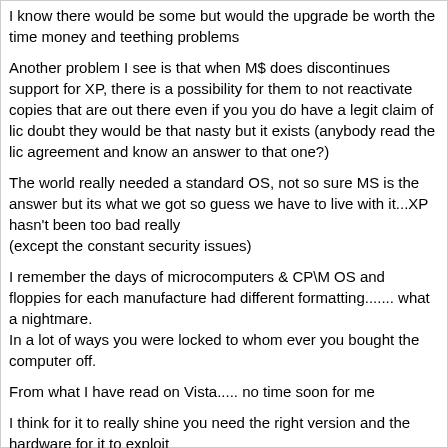I know there would be some but would the upgrade be worth the time money and teething problems
Another problem I see is that when M$ does discontinues support for XP, there is a possibility for them to not reactivate copies that are out there even if you you do have a legit claim of lic doubt they would be that nasty but it exists (anybody read the lic agreement and know an answer to that one?)
The world really needed a standard OS, not so sure MS is the answer but its what we got so guess we have to live with it...XP hasn't been too bad really
(except the constant security issues)
I remember the days of microcomputers & CP\M OS and floppies for each manufacture had different formatting....... what a nightmare.
In a lot of ways you were locked to whom ever you bought the computer off.
From what I have read on Vista..... no time soon for me
I think for it to really shine you need the right version and the hardware for it to exploit
With anything new software wise...best to wait till the iron out a lot of the bugs.
just my thoughts
cheers all :)